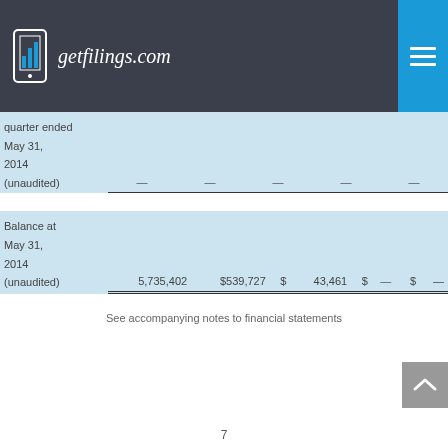getfilings.com
| quarter ended | May 31, | 2014 | (unaudited) | — | — | — | — | — |
| Balance at | May 31, | 2014 | (unaudited) | 5,735,402 | $539,727 | $ | 43,461 | $ | — | $ | — |
See accompanying notes to financial statements
7